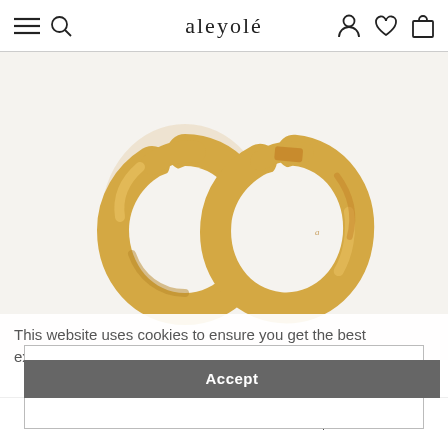aleyolé
[Figure (photo): Two small gold hoop earrings (Belle Gold Hoops) photographed on a light beige/cream background. The earrings are chunky, polished gold-tone hoops with a click clasp mechanism.]
This website uses cookies to ensure you get the best experience on our website. Learn more
ADD TO CART
Accept
SMALL BELLE GOLD HOOPS • $51.00